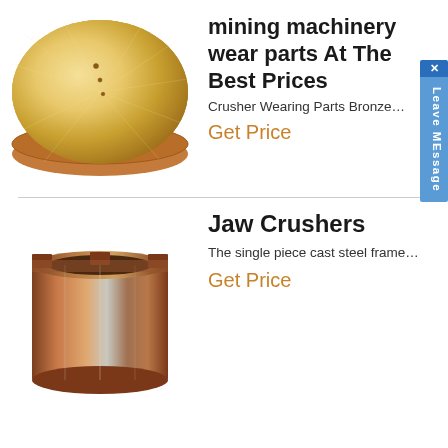[Figure (photo): Bronze/gold-colored flat circular disc (crusher wearing part), viewed from slightly above, showing machined surface with radial sheen and a rim]
mining machinery wear parts At The Best Prices
Crusher Wearing Parts Bronze…
Get Price
[Figure (photo): Cylindrical bronze/copper-colored bushing or sleeve (jaw crusher part), thick-walled metal cylinder with notches at the top rim]
Jaw Crushers
The single piece cast steel frame…
Get Price